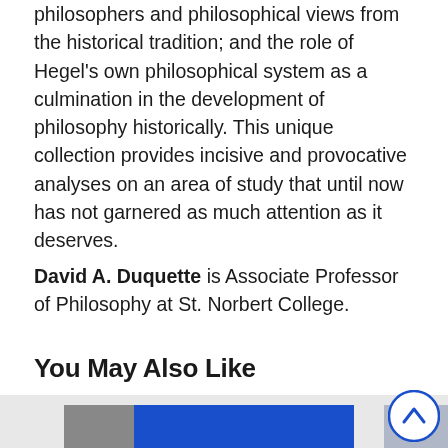philosophers and philosophical views from the historical tradition; and the role of Hegel's own philosophical system as a culmination in the development of philosophy historically. This unique collection provides incisive and provocative analyses on an area of study that until now has not garnered as much attention as it deserves.
David A. Duquette is Associate Professor of Philosophy at St. Norbert College.
You May Also Like
[Figure (photo): Partial view of two book cover thumbnails on a light grey background, partially cropped at the bottom of the page. Left cover shows a dark blue rectangle. Right cover shows a black and white image.]